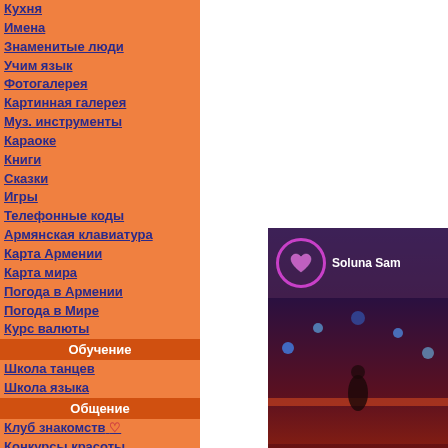Кухня
Имена
Знаменитые люди
Учим язык
Фотогалерея
Картинная галерея
Муз. инструменты
Караоке
Книги
Сказки
Игры
Телефонные коды
Армянская клавиатура
Карта Армении
Карта мира
Погода в Армении
Погода в Мире
Курс валюты
Обучение
Школа танцев
Школа языка
Общение
Клуб знакомств ♡
Конкурсы красоты
Скачать
Программы
Обои
[Figure (screenshot): Partial screenshot showing a music/social app interface with a heart-circle logo and text 'Soluna Sam', stage lighting with blue dots in background]